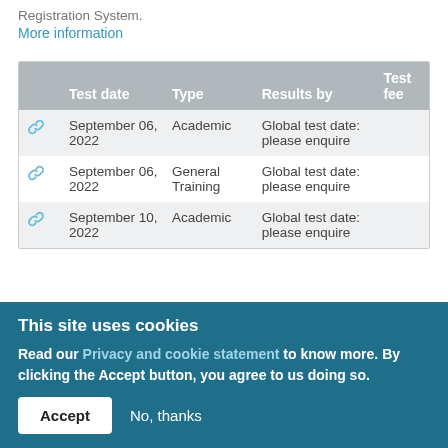Registration System.
More information
|  | Test date | Type | Results by | Test fee |
| --- | --- | --- | --- | --- |
| 🔗 | September 06, 2022 | Academic | Global test date: please enquire |  |
| 🔗 | September 06, 2022 | General Training | Global test date: please enquire |  |
| 🔗 | September 10, 2022 | Academic | Global test date: please enquire |  |
This site uses cookies
Read our Privacy and cookie statement to know more. By clicking the Accept button, you agree to us doing so.
Accept   No, thanks